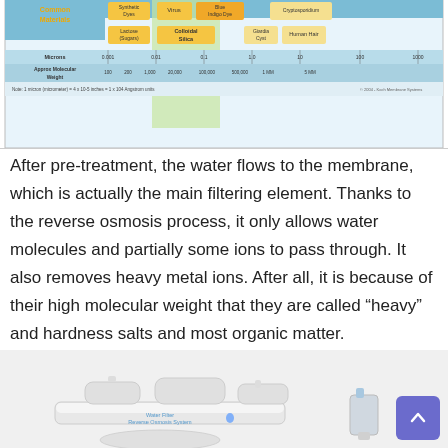[Figure (infographic): A membrane filtration spectrum chart showing particle sizes in microns and approximate molecular weight, with categories including Common Materials, Synthetic Dyes, Virus, Blue Indigo Dye, Cryptosporidium, Lactose (Sugars), Colloidal Silica, Giardia Cyst, Human Hair. Scale ranges from 0.001 to 1000 microns and 100 to 5MM molecular weight. Note: 1 micron (micrometer) = 4 x 10-5 inches = 1 x 104 Angstrom units. Copyright 2004 Koch Membrane Systems.]
After pre-treatment, the water flows to the membrane, which is actually the main filtering element. Thanks to the reverse osmosis process, it only allows water molecules and partially some ions to pass through. It also removes heavy metal ions. After all, it is because of their high molecular weight that they are called “heavy” and hardness salts and most organic matter.
[Figure (photo): Photo of a Water Filter Reverse Osmosis System with white cylindrical filter housings and blue water drop logo, along with a water valve/faucet on the right side.]